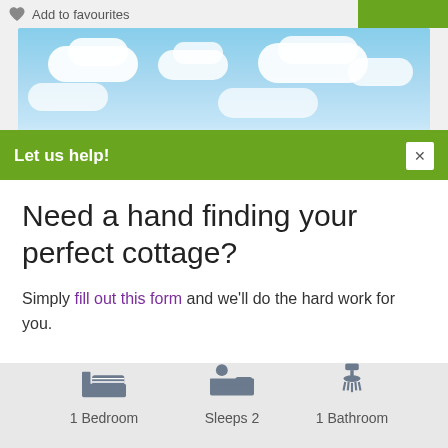Add to favourites
[Figure (photo): Sky with clouds background photo]
Let us help!
Need a hand finding your perfect cottage?
Simply fill out this form and we'll do the hard work for you.
1 Bedroom   Sleeps 2   1 Bathroom